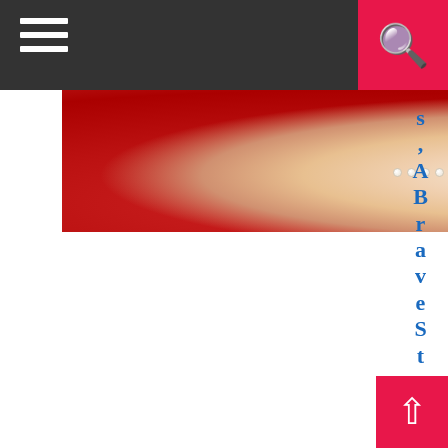Navigation bar with hamburger menu and search button
[Figure (photo): Person wearing a red jacket and pearl necklace, photographed from shoulders up, hand raised near face]
s , A B r a v e S t e p : u
[Figure (other): Scroll-to-top button arrow icon in pink/red square]